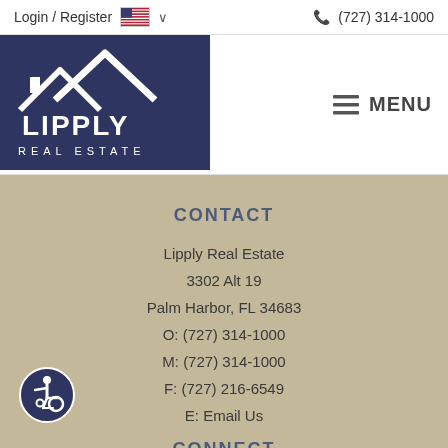Login / Register   🇺🇸 ∨   (727) 314-1000
[Figure (logo): Lipply Real Estate logo — white house/roof icon above text LIPPLY REAL ESTATE on dark navy background]
≡ MENU
CONTACT
Lipply Real Estate
3302 Alt 19
Palm Harbor, FL 34683
O: (727) 314-1000
M: (727) 314-1000
F: (727) 216-6549
E: Email Us
CONNECT